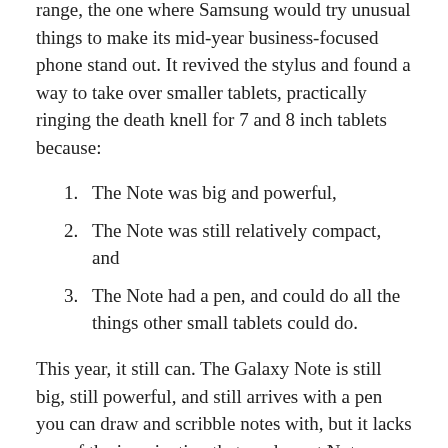range, the one where Samsung would try unusual things to make its mid-year business-focused phone stand out. It revived the stylus and found a way to take over smaller tablets, practically ringing the death knell for 7 and 8 inch tablets because:
The Note was big and powerful,
The Note was still relatively compact, and
The Note had a pen, and could do all the things other small tablets could do.
This year, it still can. The Galaxy Note is still big, still powerful, and still arrives with a pen you can draw and scribble notes with, but it lacks any of the imagination that made past Note models so exciting, and so interesting.
It is perhaps the greatest crime for this phone series,